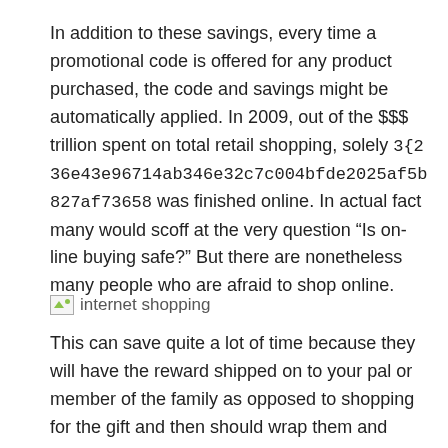In addition to these savings, every time a promotional code is offered for any product purchased, the code and savings might be automatically applied. In 2009, out of the $$$ trillion spent on total retail shopping, solely 3{236e43e96714ab346e32c7c004bfde2025af5b827af73658 was finished online. In actual fact many would scoff at the very question “Is on-line buying safe?” But there are nonetheless many people who are afraid to shop online.
[Figure (other): Broken image placeholder with alt text 'internet shopping']
This can save quite a lot of time because they will have the reward shipped on to your pal or member of the family as opposed to shopping for the gift and then should wrap them and shipping it. Many advances in know-how have afforded this …